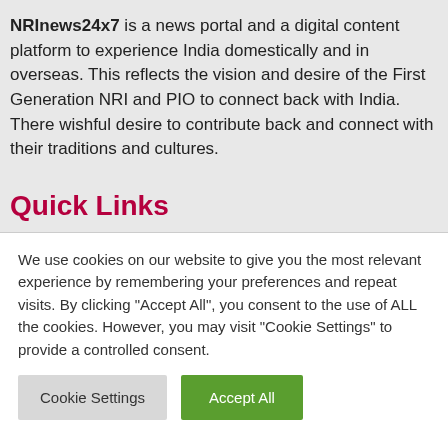NRInews24x7 is a news portal and a digital content platform to experience India domestically and in overseas. This reflects the vision and desire of the First Generation NRI and PIO to connect back with India. There wishful desire to contribute back and connect with their traditions and cultures.
Quick Links
We use cookies on our website to give you the most relevant experience by remembering your preferences and repeat visits. By clicking "Accept All", you consent to the use of ALL the cookies. However, you may visit "Cookie Settings" to provide a controlled consent.